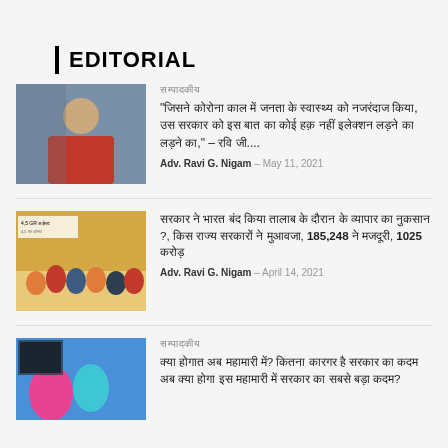EDITORIAL
[Figure (photo): Portrait photo of a man in red shirt]
सम्पादकीय
"जिसने कोरोना काल में जनता के स्वास्थ्य को नजरंदाज किया, उस सरकार को इस बात का कोई हक़ नहीं इलेक्शन लड़ने का लड़ने का," – रवि जी....
Adv. Ravi G. Nigam – May 11, 2021
[Figure (photo): Photo of protest crowd with banners]
सरकार ने भारत बंद किया तालाब के दौरान के व्यापार का नुकसान ?, किस राज्य सरकारों ने मुआवजा, 185,248 ने मजदूरी, 1025 करोड़
Adv. Ravi G. Nigam – April 14, 2021
[Figure (photo): Photo with colorful medical/health imagery]
सम्पादकीय
क्या होगात अब महामारी में? कितना कारगर है सरकार का कदम अब क्या होगा इस महामारी में सरकार का सबसे बड़ा कदम?